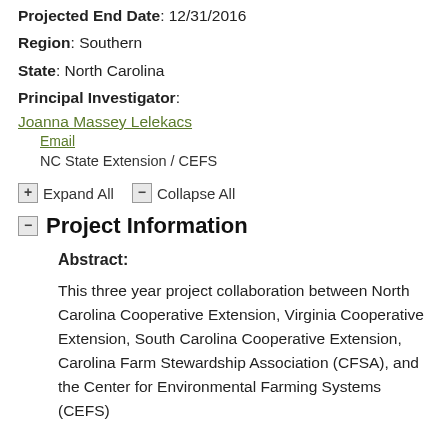Projected End Date: 12/31/2016
Region: Southern
State: North Carolina
Principal Investigator:
Joanna Massey Lelekacs
Email
NC State Extension / CEFS
Expand All   Collapse All
Project Information
Abstract:
This three year project collaboration between North Carolina Cooperative Extension, Virginia Cooperative Extension, South Carolina Cooperative Extension, Carolina Farm Stewardship Association (CFSA), and the Center for Environmental Farming Systems (CEFS)